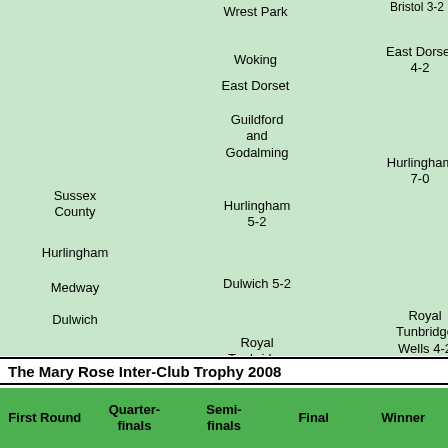[Figure (flowchart): Tournament bracket (partial, top portion cut off) showing croquet inter-club competition results. First Round includes Sussex County, Hurlingham, Medway, Dulwich. Quarter-finals: Wrest Park, Woking, East Dorset, Guildford and Godalming, Hurlingham 5-2, Dulwich 5-2, Royal Tunbridge Wells, Surbiton, Colchester. Semi-finals: Bristol 3-2 (cut off), East Dorset 4-2, Hurlingham 7-0, Royal Tunbridge Wells 4-2, Colchester 4-2. Finals: East Dorset 5.1, Royal Tunbridge Wells 5-2. Winner: East Dors 4.3]
The Mary Rose Inter-Club Trophy 2008
| First Round | Quarter-finals | Semi-finals | Final | Winner |
| --- | --- | --- | --- | --- |